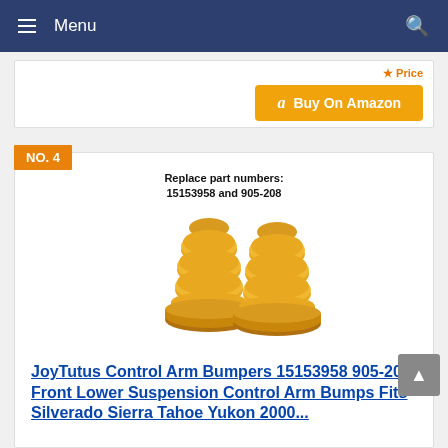Menu
[Figure (illustration): Orange Amazon Buy On Amazon button with partial price line above]
NO. 4
[Figure (photo): Two yellow/orange rubber bump stops with ribbed bellows shape, side by side. Text above reads: Replace part numbers: 15153958 and 905-208]
JoyTutus Control Arm Bumpers 15153958 905-208, Front Lower Suspension Control Arm Bumps Fits Silverado Sierra Tahoe Yukon 2000...